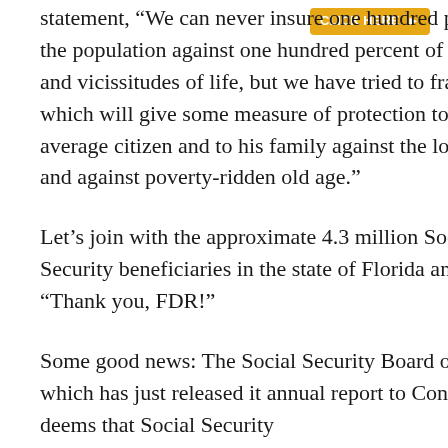[Figure (other): Orange/yellow button element in upper right corner]
statement, “We can never insure one hundred percent of the population against one hundred percent of the hazards and vicissitudes of life, but we have tried to frame a law which will give some measure of protection to the average citizen and to his family against the loss of a job and against poverty-ridden old age.”
Let’s join with the approximate 4.3 million Social Security beneficiaries in the state of Florida and shout: “Thank you, FDR!”
Some good news: The Social Security Board of Trustees, which has just released it annual report to Congress, deems that Social Security